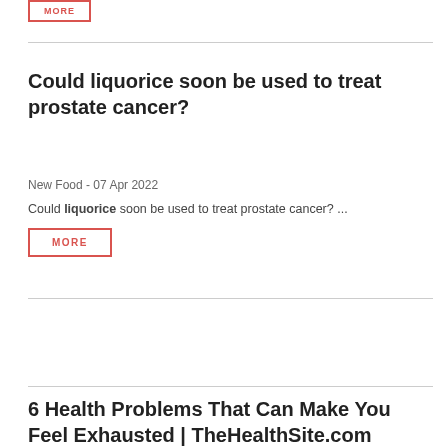MORE
Could liquorice soon be used to treat prostate cancer?
New Food - 07 Apr 2022
Could liquorice soon be used to treat prostate cancer?  ...
MORE
6 Health Problems That Can Make You Feel Exhausted | TheHealthSite.com